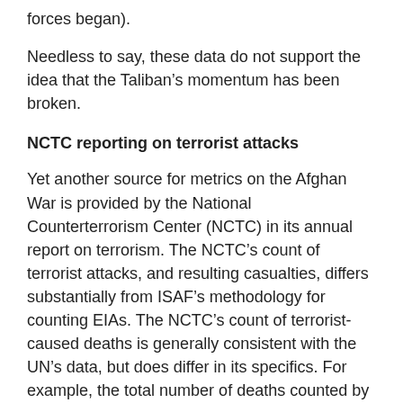forces began).
Needless to say, these data do not support the idea that the Taliban’s momentum has been broken.
NCTC reporting on terrorist attacks
Yet another source for metrics on the Afghan War is provided by the National Counterterrorism Center (NCTC) in its annual report on terrorism. The NCTC’s count of terrorist attacks, and resulting casualties, differs substantially from ISAF’s methodology for counting EIAs. The NCTC’s count of terrorist-caused deaths is generally consistent with the UN’s data, but does differ in its specifics. For example, the total number of deaths counted by the NCTC is more or less than the UN’s count in any given year. A full explanation of the differences between the NCTC’s data and other sources is beyond the scope of this article.